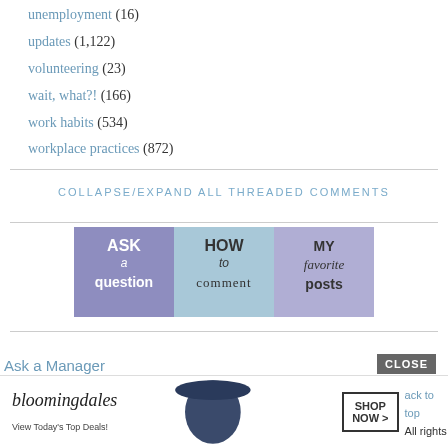unemployment (16)
updates (1,122)
volunteering (23)
wait, what?! (166)
work habits (534)
workplace practices (872)
COLLAPSE/EXPAND ALL THREADED COMMENTS
[Figure (infographic): Three-panel banner: 'ASK a question' (purple), 'HOW to comment' (light blue), 'MY favorite posts' (light purple)]
Ask a Manager
[Figure (infographic): Bloomingdale's advertisement: 'View Today's Top Deals!' with woman in hat and SHOP NOW > button]
CLOSE
ack to top   All rights